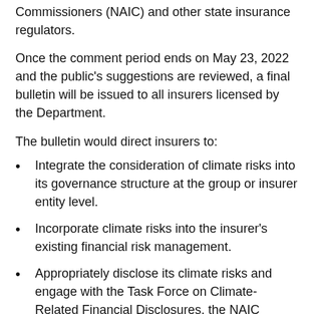Commissioners (NAIC) and other state insurance regulators.
Once the comment period ends on May 23, 2022 and the public's suggestions are reviewed, a final bulletin will be issued to all insurers licensed by the Department.
The bulletin would direct insurers to:
Integrate the consideration of climate risks into its governance structure at the group or insurer entity level.
Incorporate climate risks into the insurer's existing financial risk management.
Appropriately disclose its climate risks and engage with the Task Force on Climate-Related Financial Disclosures, the NAIC Climate Risk Disclosure Survey, and other initiatives when developing its disclosure approaches.